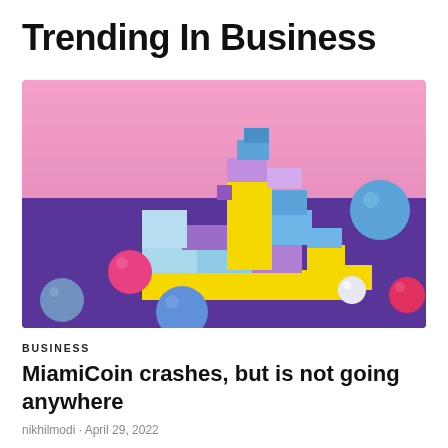Trending In Business
[Figure (photo): Colorful 3D geometric blocks (purple, yellow, blue, light blue) arranged in a pyramid shape on a purple surface with scattered colorful spheres (pink, blue, white, pink/red) against a pink background.]
BUSINESS
MiamiCoin crashes, but is not going anywhere
nikhilmodi · April 29, 2022